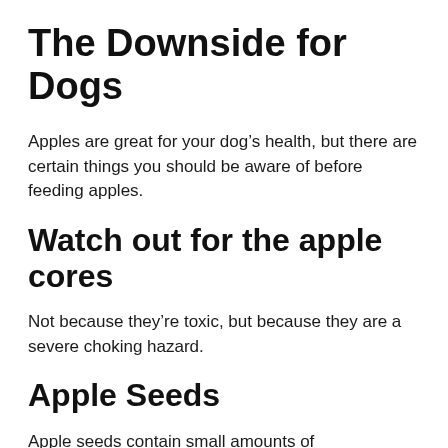The Downside for Dogs
Apples are great for your dog’s health, but there are certain things you should be aware of before feeding apples.
Watch out for the apple cores
Not because they’re toxic, but because they are a severe choking hazard.
Apple Seeds
Apple seeds contain small amounts of